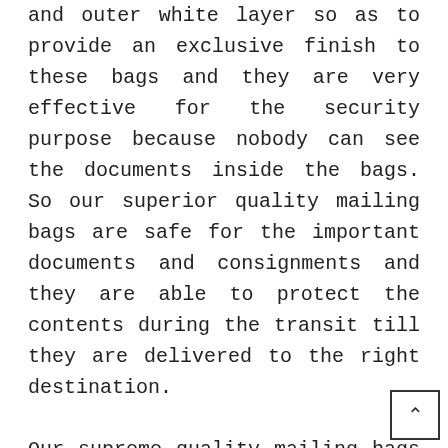and outer white layer so as to provide an exclusive finish to these bags and they are very effective for the security purpose because nobody can see the documents inside the bags. So our superior quality mailing bags are safe for the important documents and consignments and they are able to protect the contents during the transit till they are delivered to the right destination.

Our supreme quality mailing bags are water resistant and reliable packaging solution. These security envelopes are safe for the documents and consignments. These bags are light in weight and save money on postage. We of our mailing bags at the most affordable as w